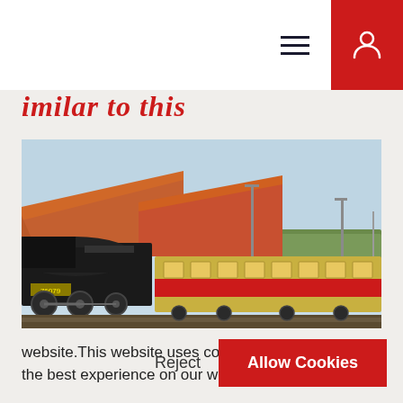Similar to this
[Figure (photo): Steam locomotive with red and cream passenger carriages at a station with red-tiled roof buildings in the background, under a clear blue sky.]
website.This website uses cookies to ensure you get the best experience on our website.◆Learn More
Reject
Allow Cookies